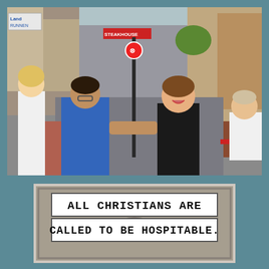[Figure (photo): Street scene photo showing people greeting each other on a European city street. A man in a blue shirt faces away from the camera extending his hand toward a laughing woman in a black outfit. A blonde woman in a white shirt stands in the background on the left. A man in a white polo shirt sits on the right. The street has shops, a lamp post with a no-stopping sign, and brick paving.]
[Figure (photo): Church sign image with text over a Gothic stone church arch background. Two white rectangular banners with bold black text read: 'ALL CHRISTIANS ARE CALLED TO BE HOSPITABLE.' The stone arch of a Gothic church is visible below the text.]